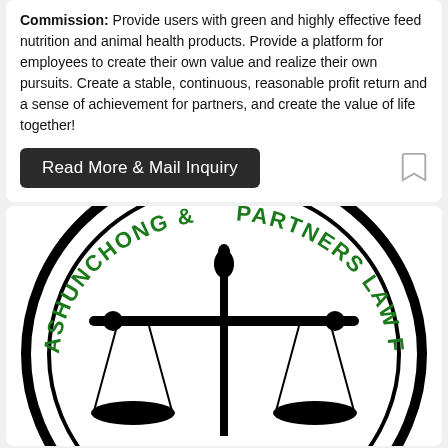Commission: Provide users with green and highly effective feed nutrition and animal health products. Provide a platform for employees to create their own value and realize their own pursuits. Create a stable, continuous, reasonable profit return and a sense of achievement for partners, and create the value of life together!
Read More & Mail Inquiry
[Figure (logo): Ashunchong & Partners Law Firm logo: circular emblem with scales of justice in black and green curved text reading ASHUNCHONG & PARTNERS LAW FIRM]